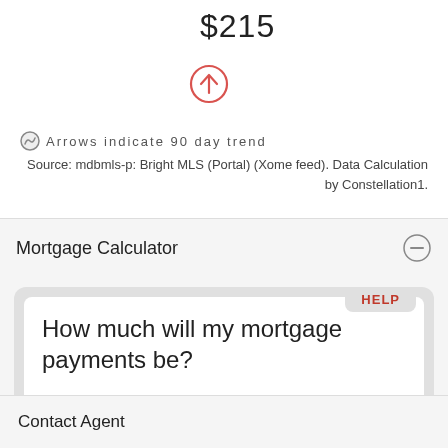$215
[Figure (illustration): Red circle with an upward arrow inside, indicating a rising 90-day trend.]
Arrows indicate 90 day trend
Source: mdbmls-p: Bright MLS (Portal) (Xome feed). Data Calculation by Constellation1.
Mortgage Calculator
HELP
How much will my mortgage payments be?
Contact Agent